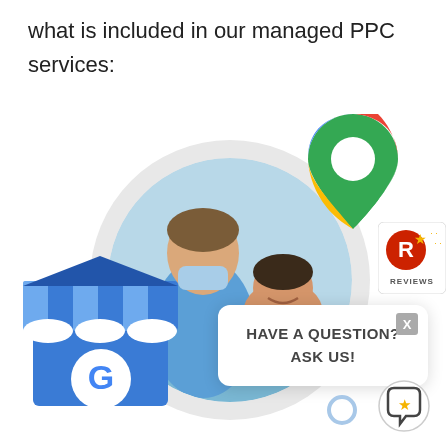what is included in our managed PPC services:
[Figure (illustration): Marketing illustration featuring a dental professional with a patient inside a large circle, surrounded by Google Maps pin, Google My Business icon, a Reviews badge, a 'Have a Question? Ask Us!' chat bubble, decorative triangles, and small review/star badges.]